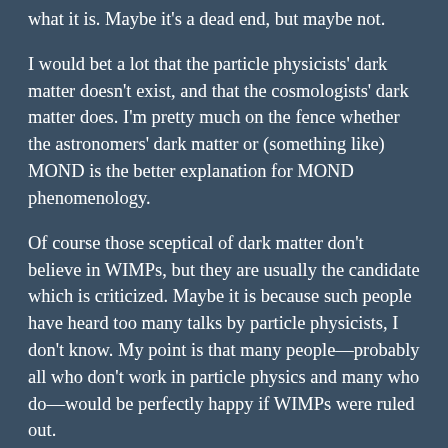what it is. Maybe it's a dead end, but maybe not.
I would bet a lot that the particle physicists' dark matter doesn't exist, and that the cosmologists' dark matter does. I'm pretty much on the fence whether the astronomers' dark matter or (something like) MOND is the better explanation for MOND phenomenology.
Of course those sceptical of dark matter don't believe in WIMPs, but they are usually the candidate which is criticized. Maybe it is because such people have heard too many talks by particle physicists, I don't know. My point is that many people—probably all who don't work in particle physics and many who do—would be perfectly happy if WIMPs were ruled out.
My impression from Renchi is that the absence of...